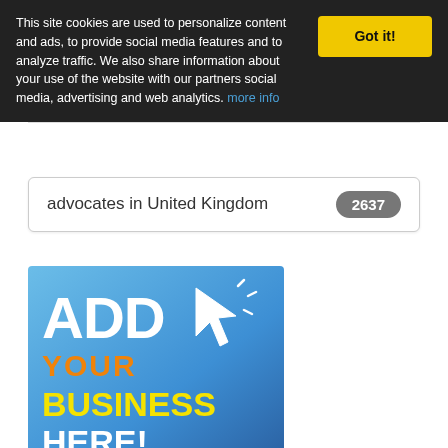This site cookies are used to personalize content and ads, to provide social media features and to analyze traffic. We also share information about your use of the website with our partners social media, advertising and web analytics. more info
advocates in United Kingdom 2637
[Figure (infographic): Blue gradient banner with bold text: ADD YOUR BUSINESS HERE! with a white cursor/click icon graphic]